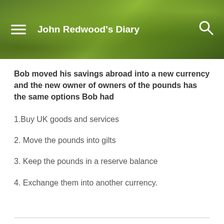John Redwood's Diary
Bob moved his savings abroad into a new currency and the new owner of owners of the pounds has the same options Bob had
1.Buy UK goods and services
2. Move the pounds into gilts
3. Keep the pounds in a reserve balance
4. Exchange them into another currency.